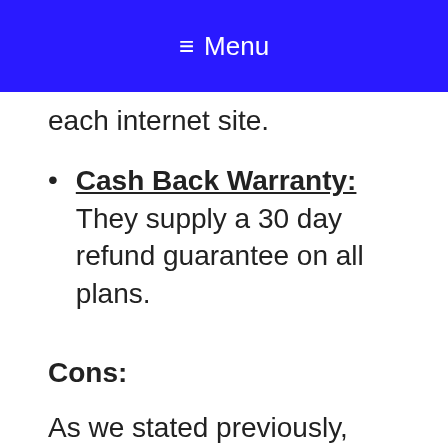≡ Menu
each internet site.
Cash Back Warranty: They supply a 30 day refund guarantee on all plans.
Cons:
As we stated previously, there are always downsides with every hosting